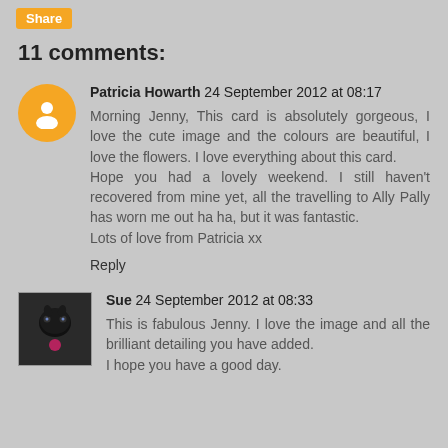Share
11 comments:
Patricia Howarth 24 September 2012 at 08:17
Morning Jenny, This card is absolutely gorgeous, I love the cute image and the colours are beautiful, I love the flowers. I love everything about this card.
Hope you had a lovely weekend. I still haven't recovered from mine yet, all the travelling to Ally Pally has worn me out ha ha, but it was fantastic.
Lots of love from Patricia xx
Reply
Sue 24 September 2012 at 08:33
This is fabulous Jenny. I love the image and all the brilliant detailing you have added.
I hope you have a good day.